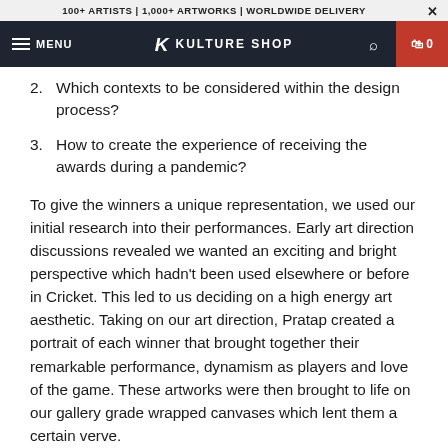100+ ARTISTS | 1,000+ ARTWORKS | WORLDWIDE DELIVERY
2. Which contexts to be considered within the design process?
3. How to create the experience of receiving the awards during a pandemic?
To give the winners a unique representation, we used our initial research into their performances. Early art direction discussions revealed we wanted an exciting and bright perspective which hadn't been used elsewhere or before in Cricket. This led to us deciding on a high energy art aesthetic. Taking on our art direction, Pratap created a portrait of each winner that brought together their remarkable performance, dynamism as players and love of the game. These artworks were then brought to life on our gallery grade wrapped canvases which lent them a certain verve.